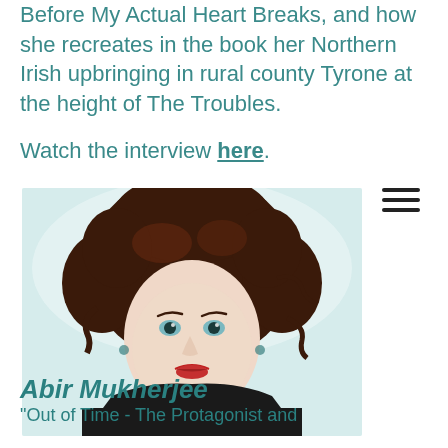Before My Actual Heart Breaks, and how she recreates in the book her Northern Irish upbringing in rural county Tyrone at the height of The Troubles.
Watch the interview here.
[Figure (photo): Portrait photo of a woman with curly dark auburn hair, pale skin, blue eyes, and red lips, wearing a black top against a light blue/white background.]
Abir Mukherjee
"Out of Time - The Protagonist and